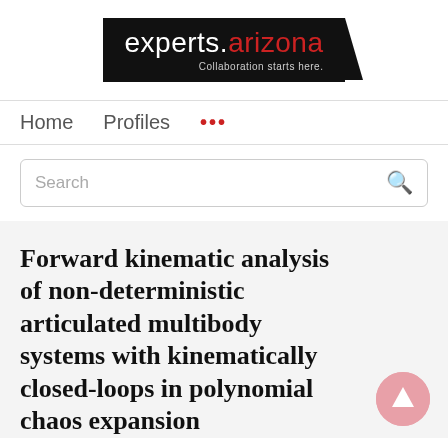[Figure (logo): experts.arizona logo — white text on black background with tagline 'Collaboration starts here.']
Home   Profiles   ...
Search
Forward kinematic analysis of non-deterministic articulated multibody systems with kinematically closed-loops in polynomial chaos expansion